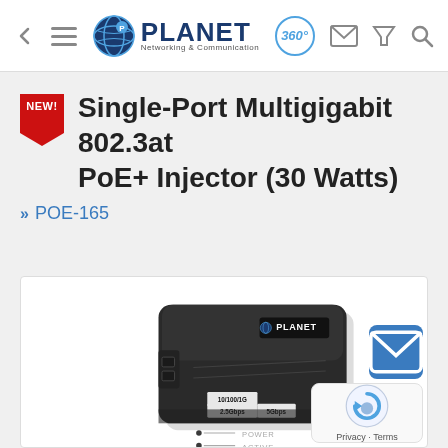PLANET Networking & Communication — navigation bar with back, menu, logo, 360°, email, filter, search icons
Single-Port Multigigabit 802.3at PoE+ Injector (30 Watts)
» POE-165
[Figure (photo): Black PLANET-branded single-port multigigabit PoE+ injector device showing labels: 10/100/1G, 2.5Gbps, 5Gbps, POWER, ACTIVE indicators on the device surface.]